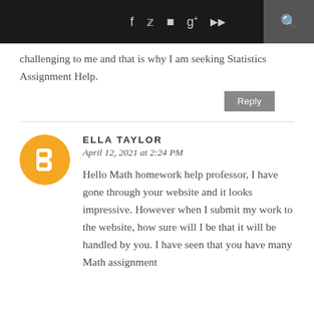Social media icons and search bar
challenging to me and that is why I am seeking Statistics Assignment Help.
Reply
ELLA TAYLOR
April 12, 2021 at 2:24 PM
Hello Math homework help professor, I have gone through your website and it looks impressive. However when I submit my work to the website, how sure will I be that it will be handled by you. I have seen that you have many Math assignment